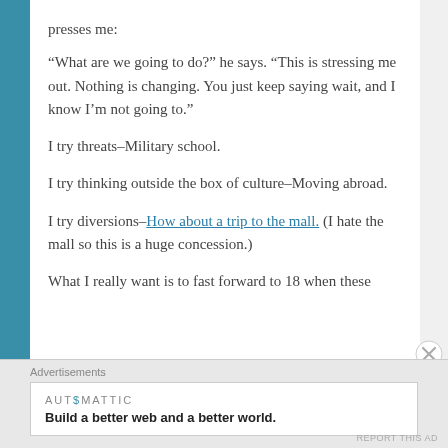presses me:
“What are we going to do?” he says. “This is stressing me out. Nothing is changing. You just keep saying wait, and I know I’m not going to.”
I try threats–Military school.
I try thinking outside the box of culture–Moving abroad.
I try diversions–How about a trip to the mall. (I hate the mall so this is a huge concession.)
What I really want is to fast forward to 18 when these
Advertisements
[Figure (other): Automattic advertisement: Build a better web and a better world.]